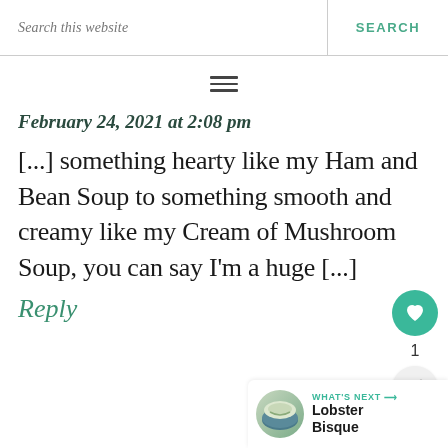Search this website | SEARCH
[Figure (other): Hamburger menu icon (three horizontal bars)]
February 24, 2021 at 2:08 pm
[...] something hearty like my Ham and Bean Soup to something smooth and creamy like my Cream of Mushroom Soup, you can say I'm a huge [...]
Reply